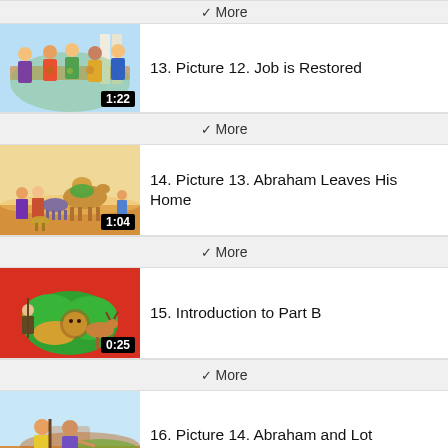More
[Figure (screenshot): Thumbnail for video 13: Job is Restored – illustration of people seated around a table sharing a meal, duration 1:22]
13. Picture 12. Job is Restored
More
[Figure (screenshot): Thumbnail for video 14: Abraham Leaves His Home – illustration of people and a camel on a desert journey, duration 1:04]
14. Picture 13. Abraham Leaves His Home
More
[Figure (screenshot): Thumbnail for video 15: Introduction to Part B – red background with illustration of a lion and other animals, duration 0:25]
15. Introduction to Part B
More
[Figure (screenshot): Thumbnail for video 16: Abraham and Lot – illustration of two men with a staff in a landscape with goats, duration 1:25]
16. Picture 14. Abraham and Lot
More
17. Picture 15. Abraham Meets the Ki…